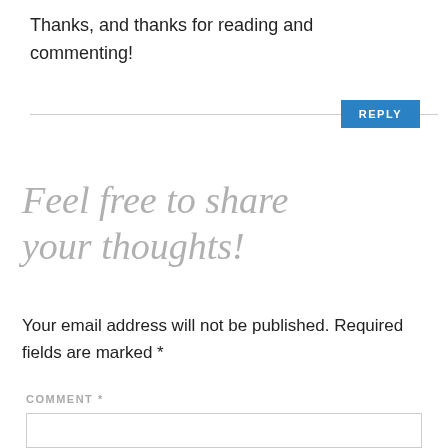Thanks, and thanks for reading and commenting!
REPLY
Feel free to share your thoughts!
Your email address will not be published. Required fields are marked *
COMMENT *